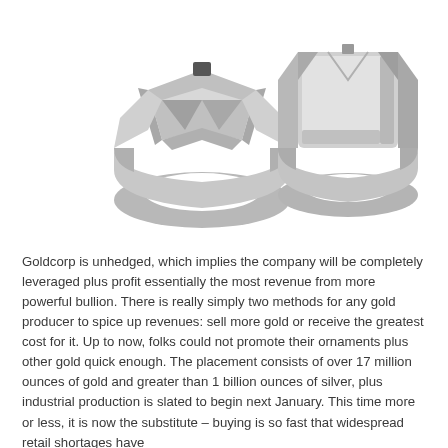[Figure (illustration): Two 3D rendered silver/white gold rings side by side. The left ring is shown from the front at an angle revealing the band and a geometric top with a small dark stone. The right ring is shown from a different angle showing a flat rectangular top surface and the band.]
Goldcorp is unhedged, which implies the company will be completely leveraged plus profit essentially the most revenue from more powerful bullion. There is really simply two methods for any gold producer to spice up revenues: sell more gold or receive the greatest cost for it. Up to now, folks could not promote their ornaments plus other gold quick enough. The placement consists of over 17 million ounces of gold and greater than 1 billion ounces of silver, plus industrial production is slated to begin next January. This time more or less, it is now the substitute – buying is so fast that widespread retail shortages have